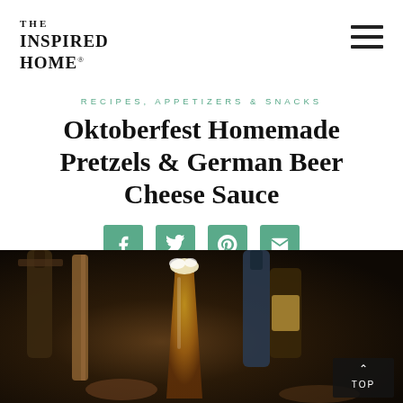THE INSPIRED HOME.
RECIPES, APPETIZERS & SNACKS
Oktoberfest Homemade Pretzels & German Beer Cheese Sauce
[Figure (infographic): Social share icons row: Facebook, Twitter, Pinterest, Email — all in teal/green square buttons]
[Figure (photo): Dark background photo showing beer bottles, a glass of beer with foam head, and pretzel/snack items on a wooden surface. 'TOP' back-to-top button visible in lower right corner.]